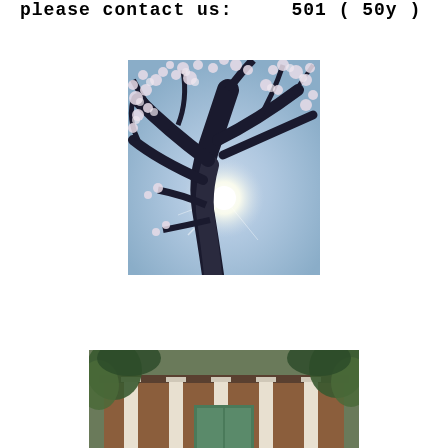please contact us:      501 ( 50y )
[Figure (photo): Looking up through a cherry blossom tree with white flowers against a blue sky, sun visible through the branches creating a starburst effect.]
[Figure (photo): Front entrance of a building with columns, framed by green trees and foliage.]